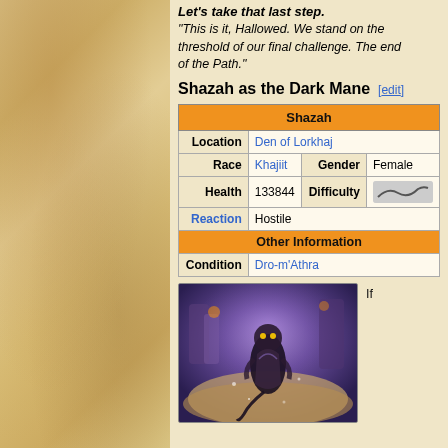Let's take that last step.
"This is it, Hallowed. We stand on the threshold of our final challenge. The end of the Path."
Shazah as the Dark Mane
| Shazah |
| --- |
| Location | Den of Lorkhaj |
| Race | Khajiit | Gender | Female |
| Health | 133844 | Difficulty |  |
| Reaction | Hostile |
| Other Information |
| Condition | Dro-m'Athra |
[Figure (screenshot): Screenshot of Shazah as the Dark Mane character, a Khajiit figure in a purple/dark mystical environment]